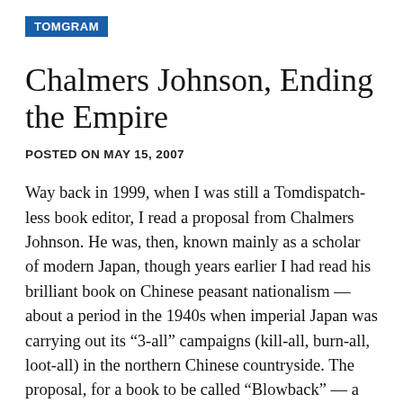TOMGRAM
Chalmers Johnson, Ending the Empire
POSTED ON MAY 15, 2007
Way back in 1999, when I was still a Tomdispatch-less book editor, I read a proposal from Chalmers Johnson. He was, then, known mainly as a scholar of modern Japan, though years earlier I had read his brilliant book on Chinese peasant nationalism — about a period in the 1940s when imperial Japan was carrying out its “3-all” campaigns (kill-all, burn-all, loot-all) in the northern Chinese countryside. The proposal, for a book to be called “Blowback” — a CIA term